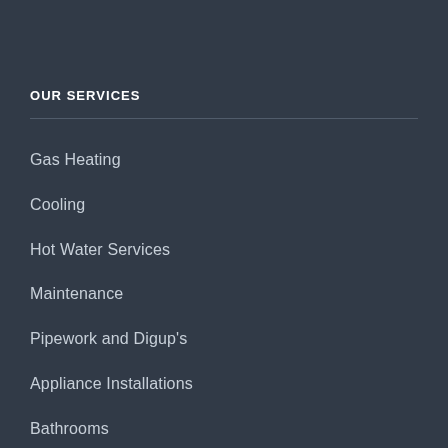OUR SERVICES
Gas Heating
Cooling
Hot Water Services
Maintenance
Pipework and Digup's
Appliance Installations
Bathrooms